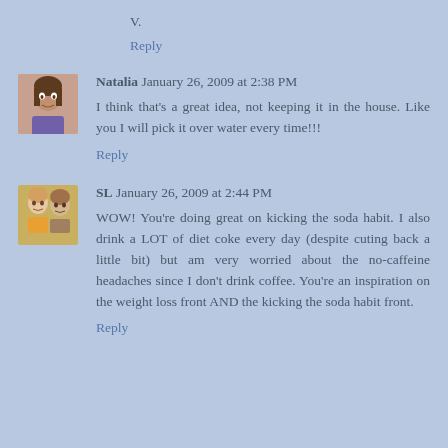V.
Reply
Natalia  January 26, 2009 at 2:38 PM
I think that's a great idea, not keeping it in the house. Like you I will pick it over water every time!!!
Reply
[Figure (photo): Avatar photo of Natalia, a woman with dark hair]
SL  January 26, 2009 at 2:44 PM
WOW! You're doing great on kicking the soda habit. I also drink a LOT of diet coke every day (despite cuting back a little bit) but am very worried about the no-caffeine headaches since I don't drink coffee. You're an inspiration on the weight loss front AND the kicking the soda habit front.
Reply
[Figure (photo): Avatar photo of SL, two people]